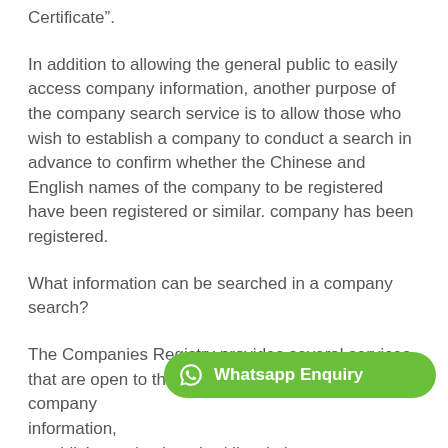Certificate”.
In addition to allowing the general public to easily access company information, another purpose of the company search service is to allow those who wish to establish a company to conduct a search in advance to confirm whether the Chinese and English names of the company to be registered have been registered or similar. company has been registered.
What information can be searched in a company search?
The Companies Registry provides several services that are open to the public. You can check basic company information, establishment/registration/dissolution, company to...